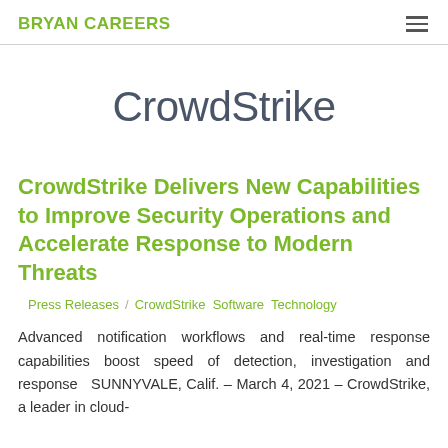BRYAN CAREERS
CrowdStrike
CrowdStrike Delivers New Capabilities to Improve Security Operations and Accelerate Response to Modern Threats
Press Releases / CrowdStrike Software Technology
Advanced notification workflows and real-time response capabilities boost speed of detection, investigation and response  SUNNYVALE, Calif. – March 4, 2021 – CrowdStrike, a leader in cloud-